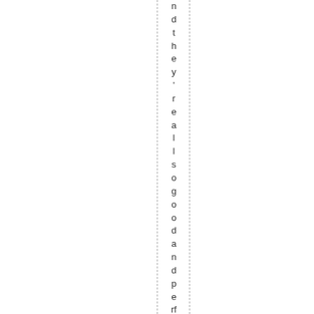ndthey'reallsogoodandperfectlycast